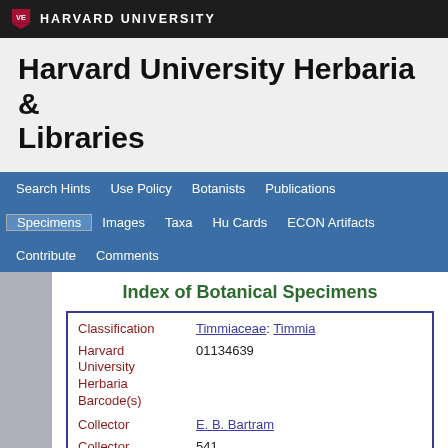HARVARD UNIVERSITY
Harvard University Herbaria & Libraries
Search Hints  Use Policy  Botanists  Publications  Specimens  Images  Taxa  Hu Cards  ECON Artifacts  Contribute  Comments
Index of Botanical Specimens
| Field | Value |
| --- | --- |
| Classification | Timmiaceae: Timmia |
| Harvard University Herbaria Barcode(s) | 01134639 |
| Collector | E. B. Bartram |
| Collector number | 541 |
| Country | United States of America |
| State | Pennsylvania |